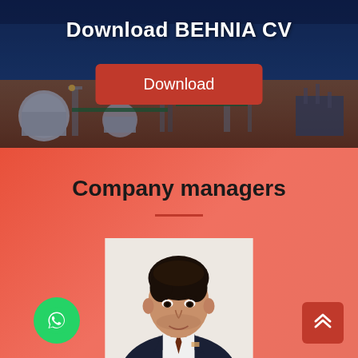[Figure (photo): Industrial/refinery night-time photo used as banner background with blue and orange tones, storage tanks and pipework visible]
Download BEHNIA CV
[Figure (other): Red Download button]
Company managers
[Figure (photo): Portrait photo of a man in a dark suit with tie, dark hair, light background]
[Figure (other): Green circular WhatsApp icon button at bottom left]
[Figure (other): Red square scroll-to-top button with double chevron up arrows at bottom right]